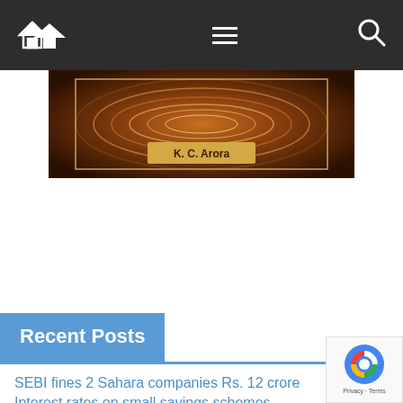[Figure (screenshot): Dark navigation bar with home icon, hamburger menu, and search icon on a news/blog website]
[Figure (photo): Book cover image showing K. C. Arora with a brown/gold swirling background pattern]
Recent Posts
SEBI fines 2 Sahara companies Rs. 12 crore
Interest rates on small savings schemes unchanged, says govt